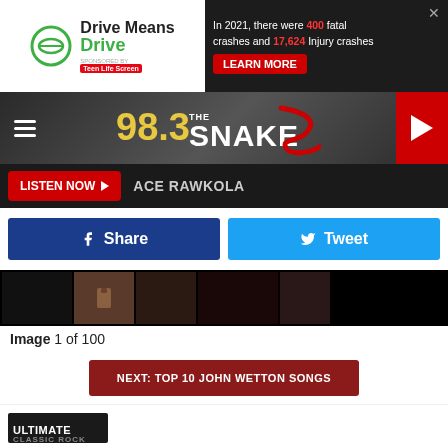[Figure (screenshot): Drive Means Drive advertisement banner with logo and safety statistics: 400 fatal crashes and 17,624 injury crashes in 2021. Learn More button in red.]
[Figure (logo): 98.3 The Snake radio station logo with snake graphic on dark gradient header with hamburger menu and red play button]
LISTEN NOW ▶  ACE RAWKOLA
[Figure (screenshot): Facebook Share button (dark blue) and Twitter Tweet button (light blue) social sharing buttons]
[Figure (photo): Gallery strip showing 6 thumbnail images, mostly dark/black with one showing a hand]
Image 1 of 100
NEXT: TOP 10 JOHN WETTON SONGS
Source: UPDATED: Steve Howe Will Return to Asia for John Wetton Tribute Shows
[Figure (screenshot): Ascension Tattoo Twin Falls Idaho advertisement with logo, tattoo images and Check Our Facebook link]